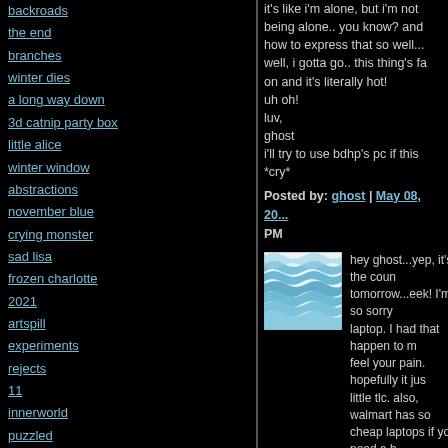backroads
the end
branches
winter dies
a long way down
3d catnip party box
little alice
winter window
abstractions
november blue
crying monster
sad lisa
frozen charlotte
2021
artspill
experiments
rejects
11
innerworld
puzzled
shadows
give up the ghost
friday13
sunset house
it's like i'm alone, but i'm not being alone.. you know? and how to express that so well... well, i gotta go.. this thing's fa on and it's literally hot!
uh oh!
luv,
ghost
i'll try to use bdhp's pc if this
*cry*
Posted by: ghost | May 08, 20... PM
[Figure (illustration): Small square avatar image with blue wavy/layered abstract design on white background]
hey ghost...yep, it's the coun tomorrow...eek! I'm so sorry laptop. I had that happen to m feel your pain. hopefully it jus little tlc. also, walmart has so cheap laptops if you need a b can't believe you said to liste nowhere'...seriously, i haven through both cds bc i keep g listen to 'going nowhere'!! it i right now! i can feel some ve smith vibe floating from ny to i'm really nervous about tom packed with a backpack and with some clothes. i have to through the ER which is kind have to get medically cleare